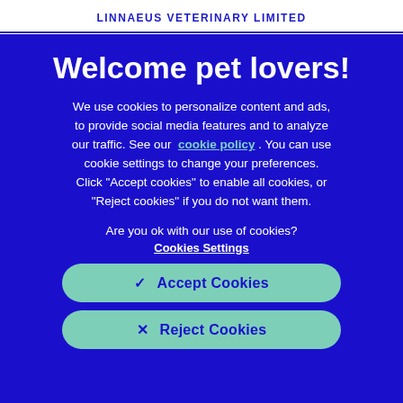LINNAEUS VETERINARY LIMITED
Welcome pet lovers!
We use cookies to personalize content and ads, to provide social media features and to analyze our traffic. See our cookie policy . You can use cookie settings to change your preferences. Click "Accept cookies" to enable all cookies, or "Reject cookies" if you do not want them.
Are you ok with our use of cookies?
Cookies Settings
✓  Accept Cookies
×  Reject Cookies